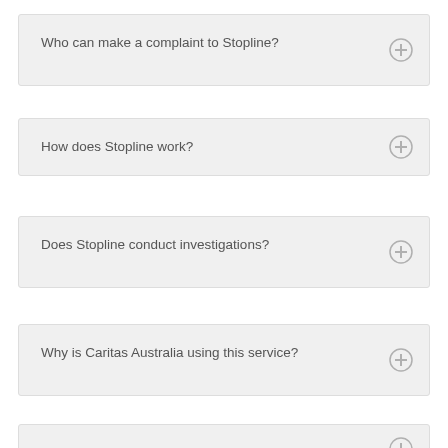Who can make a complaint to Stopline?
How does Stopline work?
Does Stopline conduct investigations?
Why is Caritas Australia using this service?
If I make a complaint, will I be kept